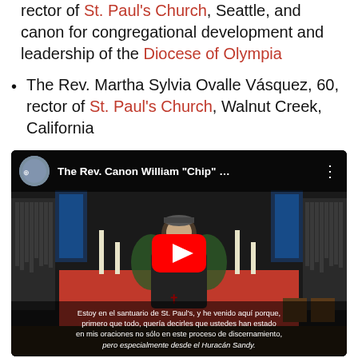rector of St. Paul's Church, Seattle, and canon for congregational development and leadership of the Diocese of Olympia
The Rev. Martha Sylvia Ovalle Vásquez, 60, rector of St. Paul's Church, Walnut Creek, California
[Figure (screenshot): YouTube video thumbnail showing The Rev. Canon William 'Chip' ... standing in front of a church altar with red cloth, candles, and pipe organ. A YouTube play button is overlaid in the center. Subtitle text at bottom in Spanish reads: Estoy en el santuario de St. Paul's, y he venido aquí porque, primero que todo, quería decirles que ustedes han estado en mis oraciones no sólo en este proceso de discernamiento, pero especialmente desde el Huracán Sandy.]